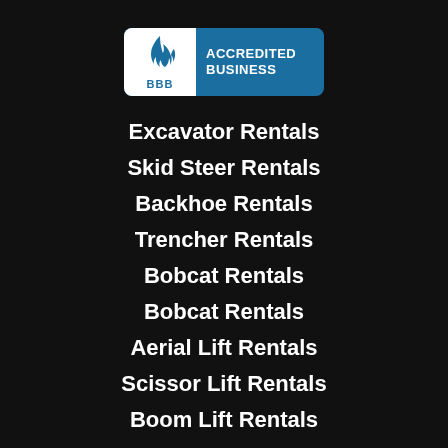[Figure (logo): BBB Accredited Business badge with flame logo on white left panel and text on blue right panel]
Excavator Rentals
Skid Steer Rentals
Backhoe Rentals
Trencher Rentals
Bobcat Rentals
Bobcat Rentals
Aerial Lift Rentals
Scissor Lift Rentals
Boom Lift Rentals